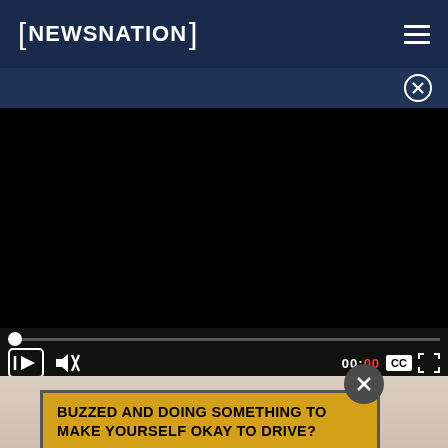[Figure (logo): NewsNation logo in white text with square brackets on dark navy background]
[Figure (screenshot): Video player showing black screen (video not loaded), with progress bar at start and controls including play, mute, time 00:00, CC and fullscreen buttons]
[Figure (screenshot): Partial image below video player showing hands, with a dark close button circle overlay and a yellow bordered advertisement banner reading 'BUZZED AND DOING SOMETHING TO MAKE YOURSELF OKAY TO DRIVE?']
Always Put a Crayon in Your Wallet when